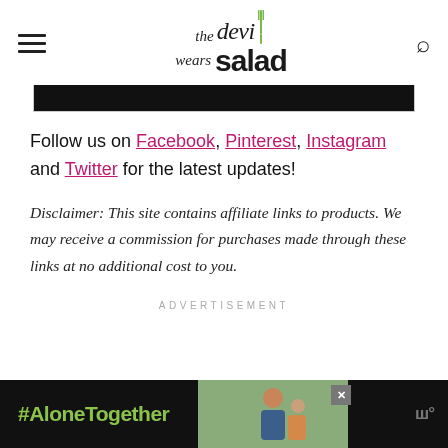the devi wears salad
[Figure (illustration): Black banner/image strip at top of content area]
Follow us on Facebook, Pinterest, Instagram and Twitter for the latest updates!
Disclaimer: This site contains affiliate links to products. We may receive a commission for purchases made through these links at no additional cost to you.
ADVERTISEMENT
[Figure (photo): Advertisement banner at the bottom showing '#AloneTogether' text in green on dark background, with a photo of a man and child, and a logo on the right]